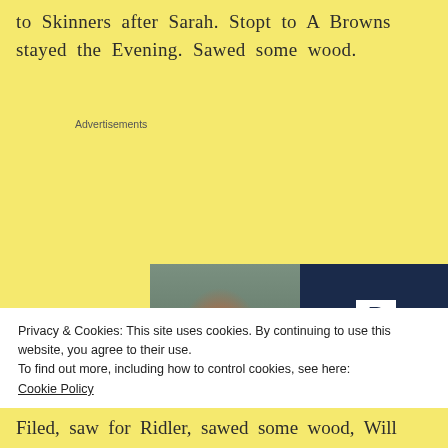to Skinners after Sarah. Stopt to A Browns stayed the Evening. Sawed some wood.
Advertisements
[Figure (screenshot): WordPress hosting advertisement showing a woman holding an OPEN sign on the left (photo) and navy blue panel on the right with a P logo and text: WORDPRESS HOSTING THAT MEANS BUSINESS.]
Privacy & Cookies: This site uses cookies. By continuing to use this website, you agree to their use.
To find out more, including how to control cookies, see here:
Cookie Policy
Close and accept
Filed, saw for Ridler, sawed some wood, Will